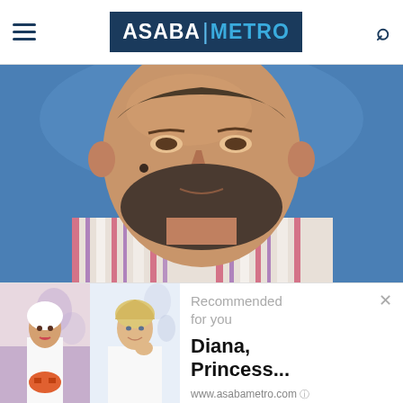ASABA METRO
[Figure (photo): Close-up photo of a middle-aged bearded man wearing a striped shirt, photographed against a blue background]
[Figure (photo): Recommended content ad panel showing two smaller photos: a woman in white on left, Princess Diana in white on right; with text 'Recommended for you' and title 'Diana, Princess...' and URL www.asabametro.com]